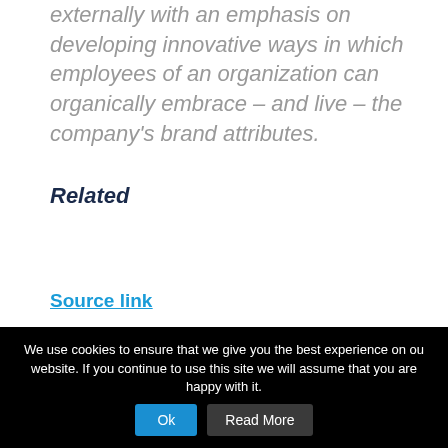externally with an emphasis on developing innovative ways in which employees of an organization can organically embrace – and live – the company's brand attributes.
Related
Source link
[Figure (other): Social share buttons bar with three colored sections: dark blue (Facebook), light blue (Twitter), dark navy (LinkedIn)]
We use cookies to ensure that we give you the best experience on our website. If you continue to use this site we will assume that you are happy with it.